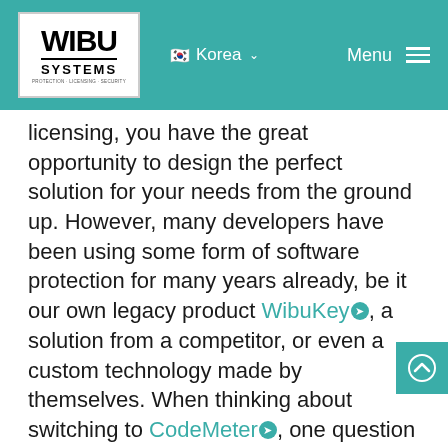WIBU SYSTEMS | Korea | Menu
licensing, you have the great opportunity to design the perfect solution for your needs from the ground up. However, many developers have been using some form of software protection for many years already, be it our own legacy product WibuKey, a solution from a competitor, or even a custom technology made by themselves. When thinking about switching to CodeMeter, one question will be on their minds: “What about the old licenses?”
Knowing Your Requirements